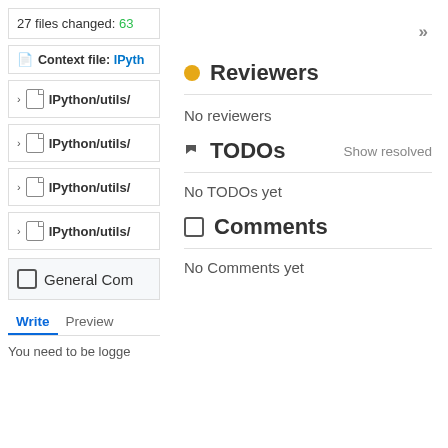27 files changed: 63
Context file: IPyth
> IPython/utils/
> IPython/utils/
> IPython/utils/
> IPython/utils/
General Com
Write  Preview
You need to be logge
Reviewers
No reviewers
TODOs
Show resolved
No TODOs yet
Comments
No Comments yet